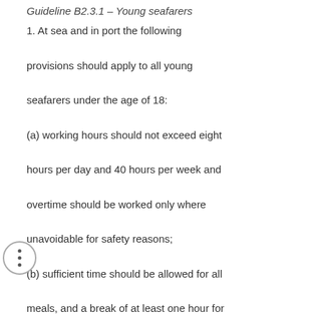Guideline B2.3.1 – Young seafarers
1. At sea and in port the following provisions should apply to all young seafarers under the age of 18: (a) working hours should not exceed eight hours per day and 40 hours per week and overtime should be worked only where unavoidable for safety reasons; (b) sufficient time should be allowed for all meals, and a break of at least one hour for the main meal of the day should be assured; and (c) a 15-minute rest period as soon as possible following each two hours of continuous work should be allowed